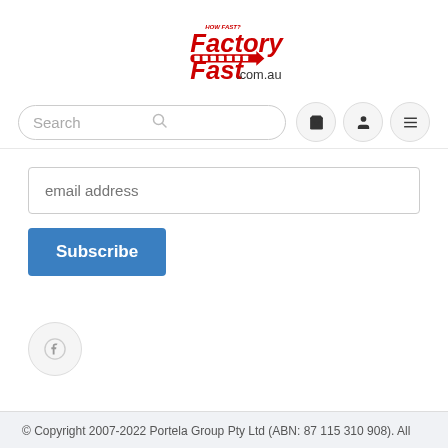[Figure (logo): FactoryFast.com.au logo in red and black with shopping cart graphic]
Search
[Figure (infographic): Navigation bar with search field and cart, user, menu icon buttons]
email address
Subscribe
[Figure (infographic): Facebook social media icon button (circle with f)]
© Copyright 2007-2022 Portela Group Pty Ltd (ABN: 87 115 310 908). All